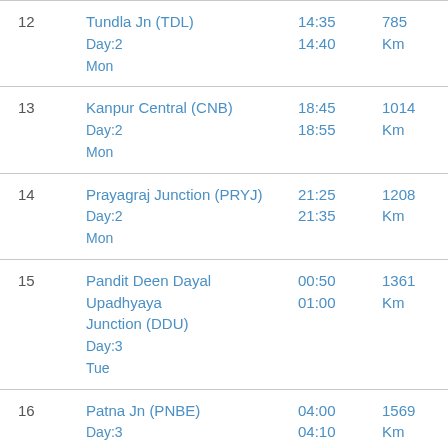| # | Station | Time | Distance |
| --- | --- | --- | --- |
| 12 | Tundla Jn (TDL)
Day:2
Mon | 14:35
14:40 | 785
Km |
| 13 | Kanpur Central (CNB)
Day:2
Mon | 18:45
18:55 | 1014
Km |
| 14 | Prayagraj Junction (PRYJ)
Day:2
Mon | 21:25
21:35 | 1208
Km |
| 15 | Pandit Deen Dayal Upadhyaya Junction (DDU)
Day:3
Tue | 00:50
01:00 | 1361
Km |
| 16 | Patna Jn (PNBE)
Day:3 | 04:00
04:10 | 1569
Km |